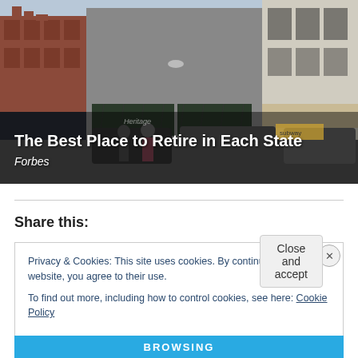[Figure (photo): Street scene of a small town main street with shops, awnings, pedestrians walking, and parked cars. Brick buildings visible.]
The Best Place to Retire in Each State
Forbes
Share this:
Privacy & Cookies: This site uses cookies. By continuing to use this website, you agree to their use.
To find out more, including how to control cookies, see here: Cookie Policy
Close and accept